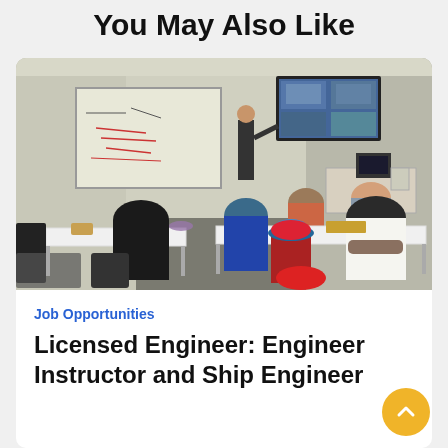You May Also Like
[Figure (photo): A classroom scene with an instructor pointing at a TV screen mounted on the wall showing images. A whiteboard with writing is on the left. Several students are seated at white tables with their backs to the camera, watching the instructor.]
Job Opportunities
Licensed Engineer: Engineer Instructor and Ship Engineer